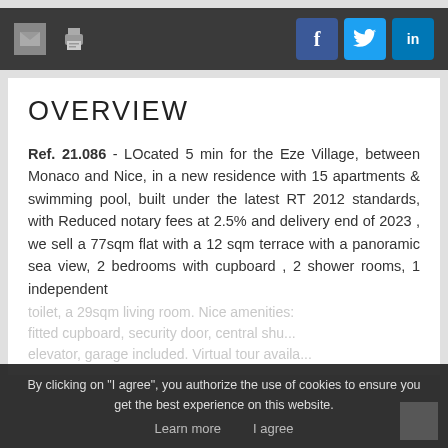Toolbar with email, print icons and Facebook, Twitter, LinkedIn social buttons
OVERVIEW
Ref. 21.086 - LOcated 5 min for the Eze Village, between Monaco and Nice, in a new residence with 15 apartments & swimming pool, built under the latest RT 2012 standards, with Reduced notary fees at 2.5% and delivery end of 2023 , we sell a 77sqm flat with a 12 sqm terrace with a panoramic sea view, 2 bedrooms with cupboard , 2 shower rooms, 1 independent toilet, a 29sqm living room. Nice amenities: fitted cupboard, security door, central shu... elevator, garage included. Virtual tour availa...
By clicking on "I agree", you authorize the use of cookies to ensure you get the best experience on this website.
Learn more    I agree